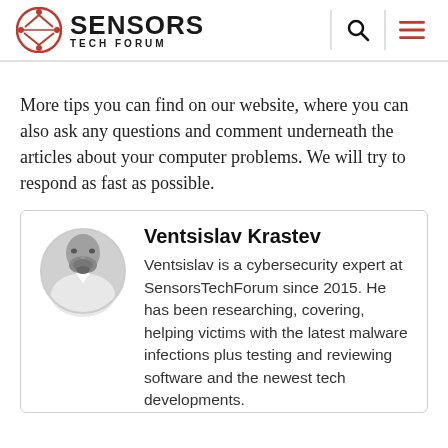Sensors Tech Forum
More tips you can find on our website, where you can also ask any questions and comment underneath the articles about your computer problems. We will try to respond as fast as possible.
Ventsislav Krastev
Ventsislav is a cybersecurity expert at SensorsTechForum since 2015. He has been researching, covering, helping victims with the latest malware infections plus testing and reviewing software and the newest tech developments.